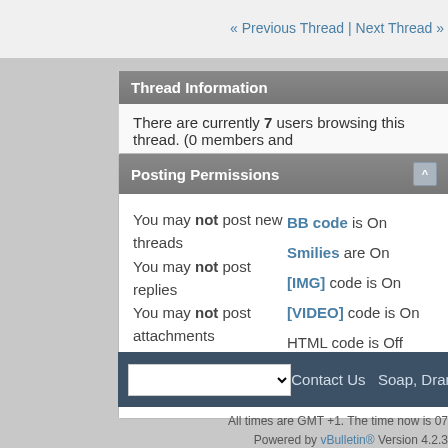« Previous Thread | Next Thread »
Thread Information
There are currently 7 users browsing this thread. (0 members and
Posting Permissions
You may not post new threads
You may not post replies
You may not post attachments
You may not edit your posts
BB code is On
Smilies are On
[IMG] code is On
[VIDEO] code is On
HTML code is Off
Forum Rules
Contact Us  Soap, Dram
All times are GMT +1. The time now is 07
Powered by vBulletin® Version 4.2.3
Copyright © 2022 vBulletin Solutions, Inc. All righ